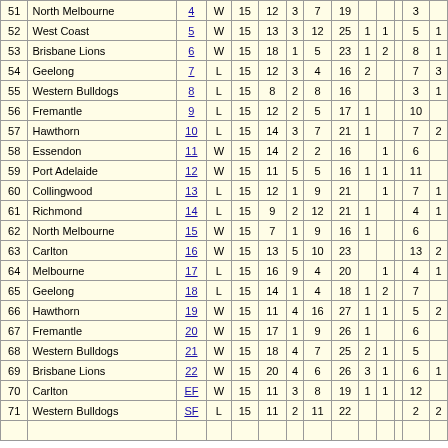| # | Team | Rd | W/L | Disp | Kick | Hand | Mark | Total | G | B | Saf | Col1 | Col2 |
| --- | --- | --- | --- | --- | --- | --- | --- | --- | --- | --- | --- | --- | --- |
| 51 | North Melbourne | 4 | W | 15 | 12 | 3 | 7 | 19 |  |  |  | 3 |  |
| 52 | West Coast | 5 | W | 15 | 13 | 3 | 12 | 25 | 1 | 1 |  | 5 | 1 |
| 53 | Brisbane Lions | 6 | W | 15 | 18 | 1 | 5 | 23 | 1 | 2 |  | 8 | 1 |
| 54 | Geelong | 7 | L | 15 | 12 | 3 | 4 | 16 | 2 |  |  | 7 | 3 |
| 55 | Western Bulldogs | 8 | L | 15 | 8 | 2 | 8 | 16 |  |  |  | 3 | 1 |
| 56 | Fremantle | 9 | L | 15 | 12 | 2 | 5 | 17 | 1 |  |  | 10 |  |
| 57 | Hawthorn | 10 | L | 15 | 14 | 3 | 7 | 21 | 1 |  |  | 7 | 2 |
| 58 | Essendon | 11 | W | 15 | 14 | 2 | 2 | 16 |  | 1 |  | 6 |  |
| 59 | Port Adelaide | 12 | W | 15 | 11 | 5 | 5 | 16 | 1 | 1 |  | 11 |  |
| 60 | Collingwood | 13 | L | 15 | 12 | 1 | 9 | 21 |  | 1 |  | 7 | 1 |
| 61 | Richmond | 14 | L | 15 | 9 | 2 | 12 | 21 | 1 |  |  | 4 | 1 |
| 62 | North Melbourne | 15 | W | 15 | 7 | 1 | 9 | 16 | 1 |  |  | 6 |  |
| 63 | Carlton | 16 | W | 15 | 13 | 5 | 10 | 23 |  |  |  | 13 | 2 |
| 64 | Melbourne | 17 | L | 15 | 16 | 9 | 4 | 20 |  | 1 |  | 4 | 1 |
| 65 | Geelong | 18 | L | 15 | 14 | 1 | 4 | 18 | 1 | 2 |  | 7 |  |
| 66 | Hawthorn | 19 | W | 15 | 11 | 4 | 16 | 27 | 1 | 1 |  | 5 | 2 |
| 67 | Fremantle | 20 | W | 15 | 17 | 1 | 9 | 26 | 1 |  |  | 6 |  |
| 68 | Western Bulldogs | 21 | W | 15 | 18 | 4 | 7 | 25 | 2 | 1 |  | 5 |  |
| 69 | Brisbane Lions | 22 | W | 15 | 20 | 4 | 6 | 26 | 3 | 1 |  | 6 | 1 |
| 70 | Carlton | EF | W | 15 | 11 | 3 | 8 | 19 | 1 | 1 |  | 12 |  |
| 71 | Western Bulldogs | SF | L | 15 | 11 | 2 | 11 | 22 |  |  |  | 2 | 2 |